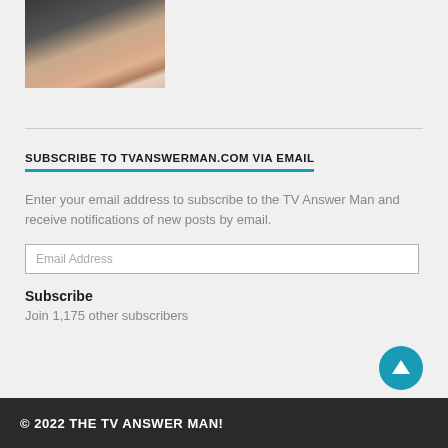[Figure (photo): Headshot photo of a middle-aged man with short gray hair wearing a white shirt, against a dark background]
SUBSCRIBE TO TVANSWERMAN.COM VIA EMAIL
Enter your email address to subscribe to the TV Answer Man and receive notifications of new posts by email.
Email Address
Subscribe
Join 1,175 other subscribers
© 2022 THE TV ANSWER MAN!